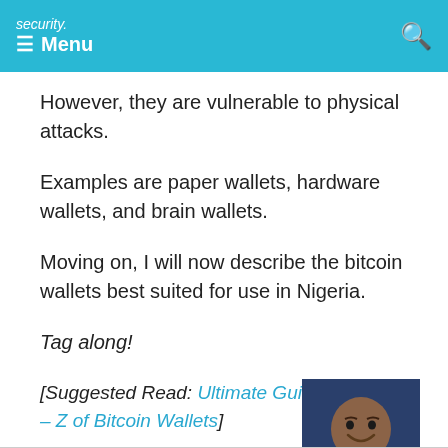security. Menu
However, they are vulnerable to physical attacks.
Examples are paper wallets, hardware wallets, and brain wallets.
Moving on, I will now describe the bitcoin wallets best suited for use in Nigeria.
Tag along!
[Suggested Read: Ultimate Guide:- The A – Z of Bitcoin Wallets]
[Figure (photo): Portrait photo of a person smiling, wearing a striped shirt, dark background]